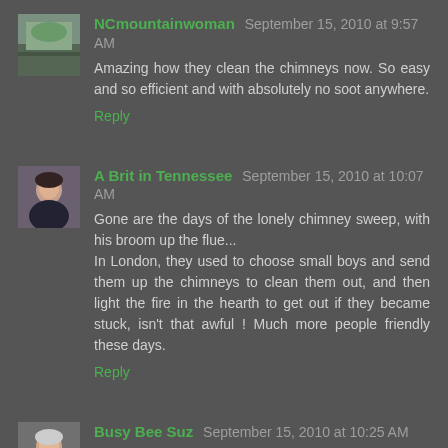NCmountainwoman  September 15, 2010 at 9:57 AM
Amazing how they clean the chimneys now. So easy and so efficient and with absolutely no soot anywhere.
Reply
A Brit in Tennessee  September 15, 2010 at 10:07 AM
Gone are the days of the lonely chimney sweep, with his broom up the flue...
In London, they used to choose small boys and send them up the chimneys to clean them out, and then light the fire in the hearth to get out if they became stuck, isn't that awful ! Much more people friendly these days.
Reply
Busy Bee Suz  September 15, 2010 at 10:25 AM
Yippee for clean chimneys!!!!
You do live in a beautiful area...having neighbors near by